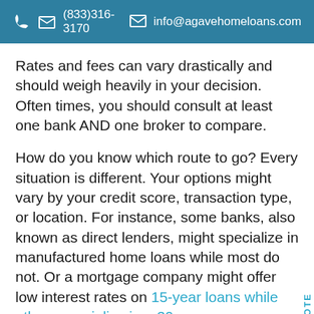(833)316-3170   info@agavehomeloans.com
Rates and fees can vary drastically and should weigh heavily in your decision. Often times, you should consult at least one bank AND one broker to compare.
How do you know which route to go? Every situation is different. Your options might vary by your credit score, transaction type, or location. For instance, some banks, also known as direct lenders, might specialize in manufactured home loans while most do not. Or a mortgage company might offer low interest rates on 15-year loans while others specialize in a 30-year.